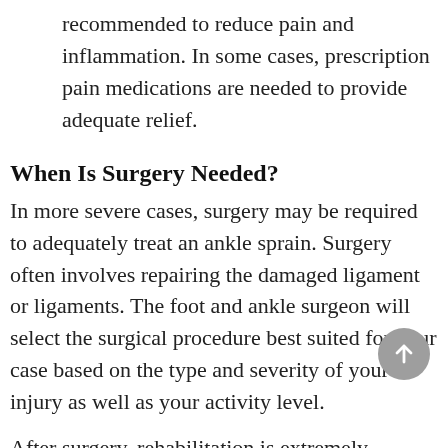recommended to reduce pain and inflammation. In some cases, prescription pain medications are needed to provide adequate relief.
When Is Surgery Needed?
In more severe cases, surgery may be required to adequately treat an ankle sprain. Surgery often involves repairing the damaged ligament or ligaments. The foot and ankle surgeon will select the surgical procedure best suited for your case based on the type and severity of your injury as well as your activity level.
After surgery, rehabilitation is extremely important.